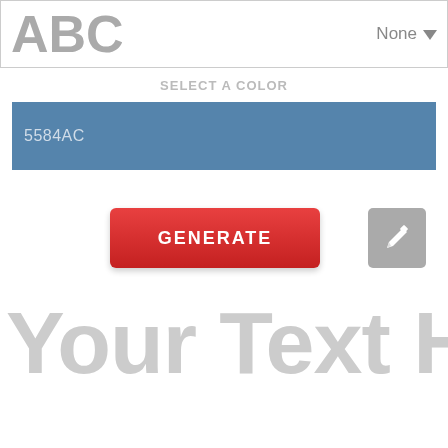[Figure (screenshot): Top bar showing 'ABC' in large gray bold text on the left and 'None' with a dropdown arrow on the right, inside a bordered white box]
SELECT A COLOR
[Figure (other): Blue color swatch bar showing hex code '5584AC' in light text on a steel-blue (#5584AC) background]
[Figure (other): Red 'GENERATE' button with white bold uppercase text and a gray pencil/edit icon button to its right]
Your Text Here